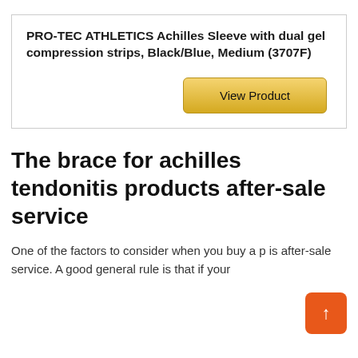PRO-TEC ATHLETICS Achilles Sleeve with dual gel compression strips, Black/Blue, Medium (3707F)
View Product
The brace for achilles tendonitis products after-sale service
One of the factors to consider when you buy a p is after-sale service. A good general rule is that if your